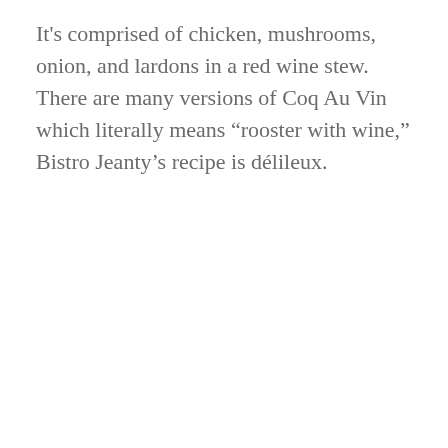It's comprised of chicken, mushrooms, onion, and lardons in a red wine stew. There are many versions of Coq Au Vin which literally means “rooster with wine,” Bistro Jeanty’s recipe is délileux.